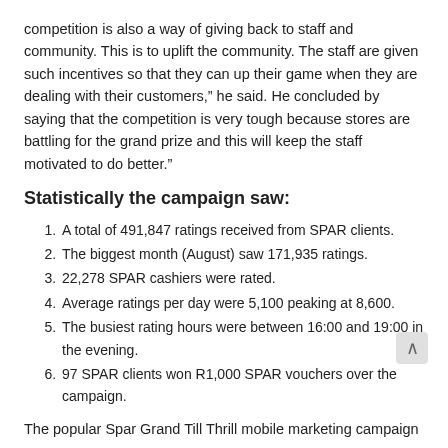competition is also a way of giving back to staff and community. This is to uplift the community. The staff are given such incentives so that they can up their game when they are dealing with their customers,” he said. He concluded by saying that the competition is very tough because stores are battling for the grand prize and this will keep the staff motivated to do better.”
Statistically the campaign saw:
A total of 491,847 ratings received from SPAR clients.
The biggest month (August) saw 171,935 ratings.
22,278 SPAR cashiers were rated.
Average ratings per day were 5,100 peaking at 8,600.
The busiest rating hours were between 16:00 and 19:00 in the evening.
97 SPAR clients won R1,000 SPAR vouchers over the campaign.
The popular Spar Grand Till Thrill mobile marketing campaign